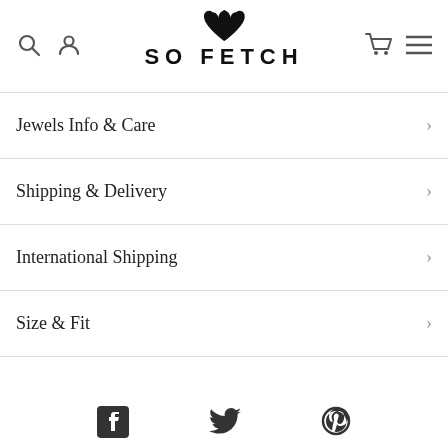SO FETCH
Jewels Info & Care
Shipping & Delivery
International Shipping
Size & Fit
Social media icons: Facebook, Twitter, Pinterest